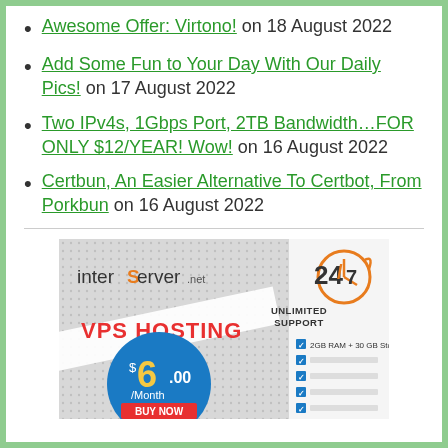Awesome Offer: Virtono! on 18 August 2022
Add Some Fun to Your Day With Our Daily Pics! on 17 August 2022
Two IPv4s, 1Gbps Port, 2TB Bandwidth…FOR ONLY $12/YEAR! Wow! on 16 August 2022
Certbun, An Easier Alternative To Certbot, From Porkbun on 16 August 2022
[Figure (advertisement): InterServer.net VPS Hosting ad. 24/7 Unlimited Support. VPS Hosting $6.00/Month. 2GB RAM + 30 GB Storage. BUY NOW button.]